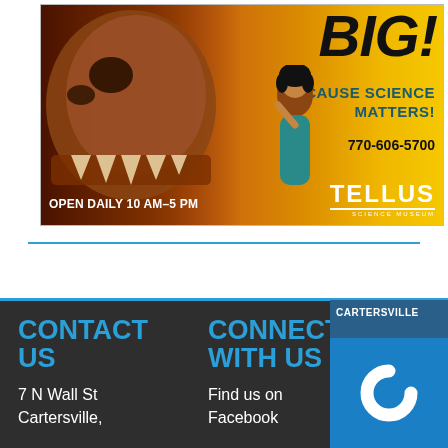[Figure (illustration): Tellus Science Museum advertisement. Orange/yellow gradient background with a close-up of a dinosaur skull on the left, a young girl looking up on the right. Text reads: BIG! BECAUSE SCIENCE MATTERS! 770-606-5700. OPEN DAILY 10 AM–5 PM. TELLUS SCIENCE MUSEUM logo.]
CONTACT US
CONNECT WITH US
7 N Wall St
Cartersville,
Find us on
Facebook
[Figure (logo): Cartersville logo with white text on dark blue and a blue panel with a stylized C icon]